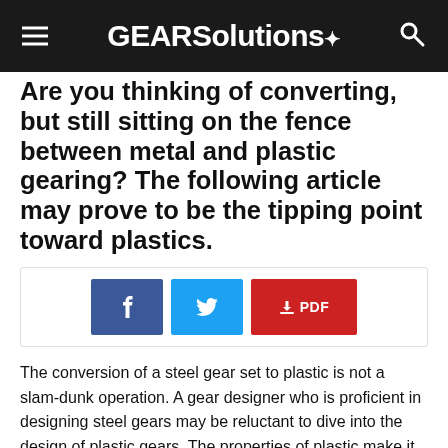GEARSolutions
Are you thinking of converting, but still sitting on the fence between metal and plastic gearing? The following article may prove to be the tipping point toward plastics.
[Figure (infographic): Social share buttons: Facebook (blue), Twitter (cyan), PDF download (red)]
The conversion of a steel gear set to plastic is not a slam-dunk operation. A gear designer who is proficient in designing steel gears may be reluctant to dive into the design of plastic gears. The properties of plastic make it quite interesting. Nothing stays the same. Time, temperature, and humidity can change the properties of plastic materials. Size, strength,